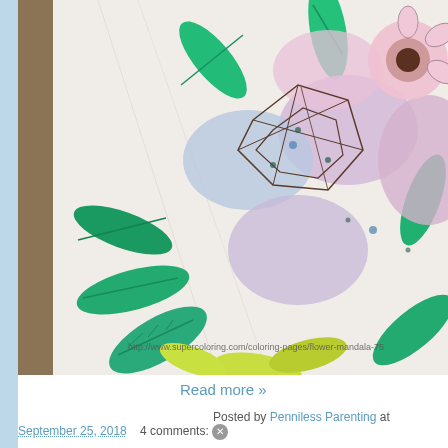[Figure (photo): A photograph of a colored mandala/flower coloring book page, showing flower petals in pink, blue, purple, and green leaves colored with colored pencils. A URL watermark reads: http://www.supercoloring.com/coloring-pages/flower-mandala-75]
Read more »
Posted by Penniless Parenting at September 25, 2018   4 comments: